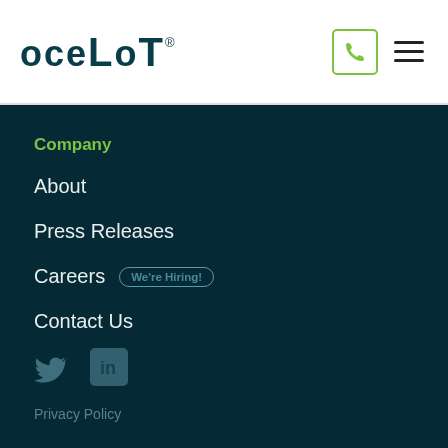[Figure (logo): OCELOT company logo in dark teal with registered trademark symbol]
[Figure (other): Phone icon in green square and hamburger menu icon in header]
Company
About
Press Releases
Careers  We're Hiring!
Contact Us
[Figure (other): Twitter (X) bird icon and LinkedIn icon in muted teal]
Privacy Policy